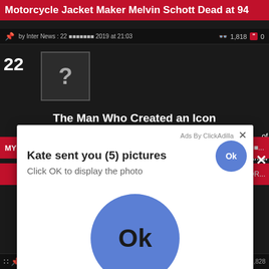Motorcycle Jacket Maker Melvin Schott Dead at 94
by Inter News : 22 xxxxxxx 2019 at 21:03  1,818  0
22
[Figure (photo): Avatar placeholder image with question mark]
The Man Who Created an Icon
Kate sent you (5) pictures
Click OK to display the photo
[Figure (screenshot): Ad popup overlay with ClickAdilla branding showing fake message: Kate sent you (5) pictures. Click OK to display the photo. Two blue OK buttons visible.]
by Inter News : 22 xxxxxxx 2019 at 20:22  1,828